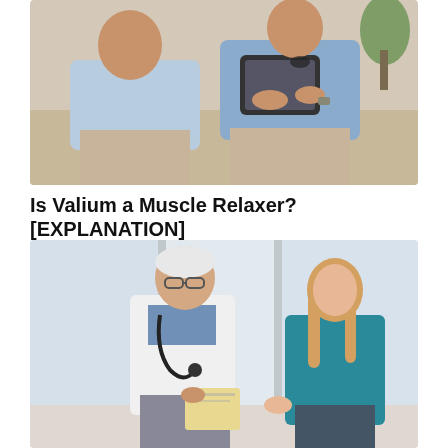[Figure (photo): Two people sitting on a couch, one holding a tablet device — appears to be a patient and a healthcare provider in consultation]
Is Valium a Muscle Relaxer? [EXPLANATION]
[Figure (photo): An elderly male doctor wearing a white coat and stethoscope stands facing a blonde female patient in a teal top, both holding papers, in a bright clinical corridor]